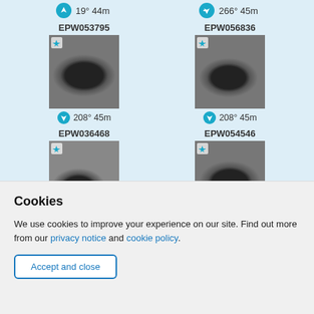19° 44m
266° 45m
EPW053795
[Figure (photo): Aerial black-and-white photograph of a stadium with oval track, EPW053795]
208° 45m
EPW056836
[Figure (photo): Aerial black-and-white photograph of a stadium with oval track, EPW056836]
208° 45m
EPW036468
[Figure (photo): Aerial black-and-white photograph of a stadium with oval track, EPW036468]
EPW054546
[Figure (photo): Aerial black-and-white photograph of a stadium with oval track, EPW054546]
Cookies
We use cookies to improve your experience on our site. Find out more from our privacy notice and cookie policy.
Accept and close